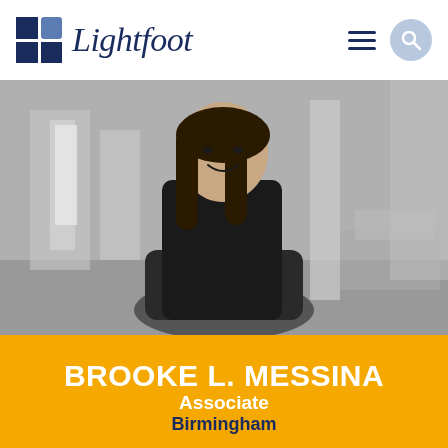[Figure (logo): Lightfoot law firm logo with dark blue grid squares and italic serif logotype text]
[Figure (photo): Black and white professional headshot of Brooke L. Messina, a woman with long dark hair wearing a dark blazer, arms crossed, standing in an elegant hallway]
BROOKE L. MESSINA
Associate
Birmingham